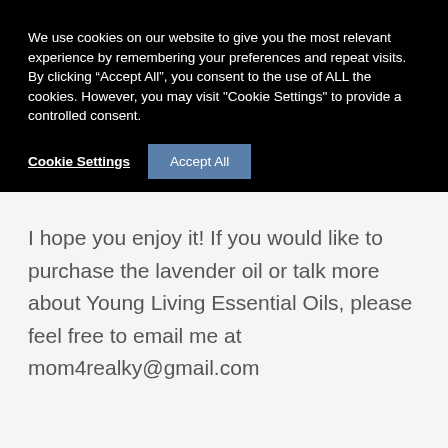We use cookies on our website to give you the most relevant experience by remembering your preferences and repeat visits. By clicking “Accept All”, you consent to the use of ALL the cookies. However, you may visit "Cookie Settings" to provide a controlled consent.
Cookie Settings   Accept All
I hope you enjoy it! If you would like to purchase the lavender oil or talk more about Young Living Essential Oils, please feel free to email me at mom4realky@gmail.com